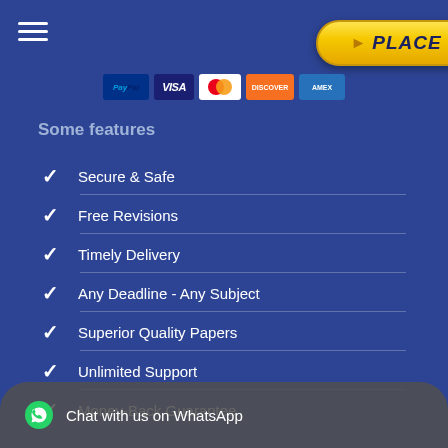[Figure (other): Hamburger menu icon (three horizontal white lines)]
[Figure (other): Yellow rounded 'PLACE ORDER' button with arrows]
[Figure (other): Payment icons: PayPal, Visa, Mastercard, Discover, Amex]
Some features
Secure & Safe
Free Revisions
Timely Delivery
Any Deadline - Any Subject
Superior Quality Papers
Unlimited Support
Money-Back Guarantee
Chat with us on WhatsApp